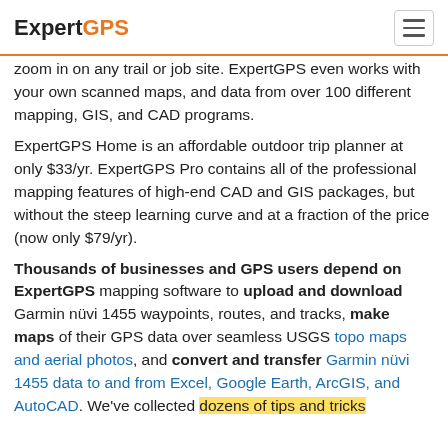ExpertGPS
zoom in on any trail or job site. ExpertGPS even works with your own scanned maps, and data from over 100 different mapping, GIS, and CAD programs.
ExpertGPS Home is an affordable outdoor trip planner at only $33/yr. ExpertGPS Pro contains all of the professional mapping features of high-end CAD and GIS packages, but without the steep learning curve and at a fraction of the price (now only $79/yr).
Thousands of businesses and GPS users depend on ExpertGPS mapping software to upload and download Garmin nüvi 1455 waypoints, routes, and tracks, make maps of their GPS data over seamless USGS topo maps and aerial photos, and convert and transfer Garmin nüvi 1455 data to and from Excel, Google Earth, ArcGIS, and AutoCAD. We've collected dozens of tips and tricks